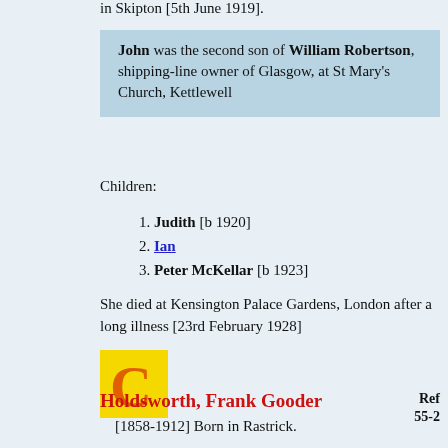in Skipton [5th June 1919].
John was the second son of William Robertson, shipping-line owner of Glasgow, at St Mary's Church, Kettlewell
Children:
Judith [b 1920]
Ian
Peter McKellar [b 1923]
She died at Kensington Palace Gardens, London after a long illness [23rd February 1928]
[Figure (logo): Yellow square logo with orange letter C]
Holdsworth, Frank Gooder
Ref 55-2
[1858-1912] Born in Rastrick.